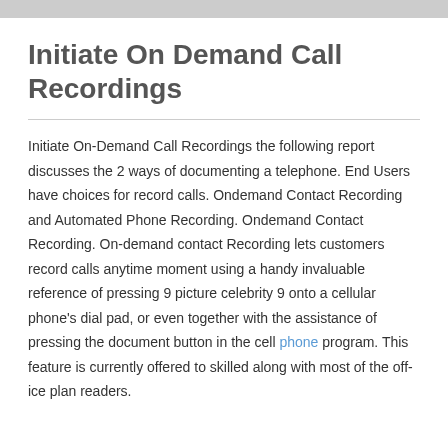Initiate On Demand Call Recordings
Initiate On-Demand Call Recordings the following report discusses the 2 ways of documenting a telephone. End Users have choices for record calls. Ondemand Contact Recording and Automated Phone Recording. Ondemand Contact Recording. On-demand contact Recording lets customers record calls anytime moment using a handy invaluable reference of pressing 9 picture celebrity 9 onto a cellular phone's dial pad, or even together with the assistance of pressing the document button in the cell phone program. This feature is currently offered to skilled along with most of the off-ice plan readers.